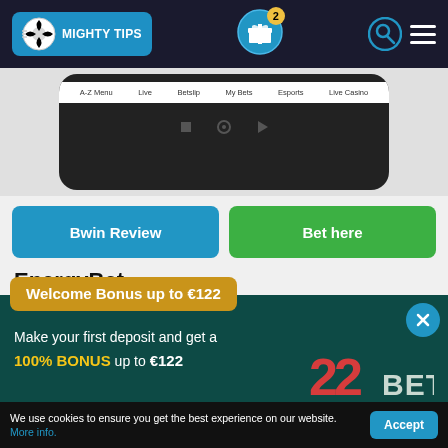[Figure (screenshot): MightyTips website header with logo, gift icon with badge showing 2, search and hamburger menu icons on dark background]
[Figure (screenshot): Mobile phone mockup showing Bwin app navigation with A-Z Menu, Live, Betslip, My Bets, Esports, Live Casino tabs]
Bwin Review
Bet here
EnergyBet
Ene...ble, mobile, gambling
Welcome Bonus up to €122
Make your first deposit and get a 100% BONUS up to €122
[Figure (logo): 22Bet logo in red and white/teal colors]
CLAIM THE BONUS
We use cookies to ensure you get the best experience on our website. More info.
Accept